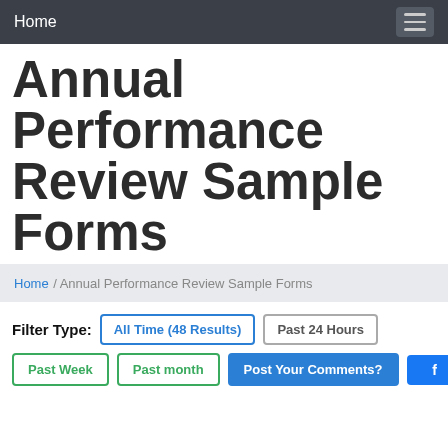Home
Annual Performance Review Sample Forms
Home / Annual Performance Review Sample Forms
Filter Type: All Time (48 Results) | Past 24 Hours
Past Week | Past month | Post Your Comments?